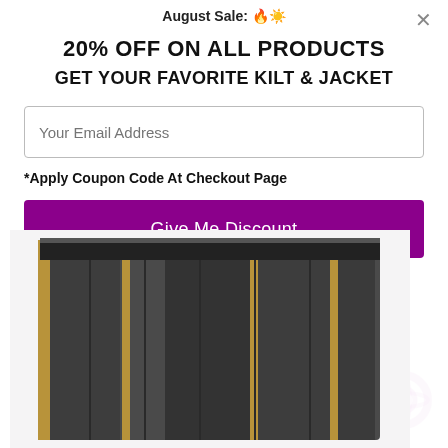August Sale: 🔥☀️
20% OFF ON ALL PRODUCTS
GET YOUR FAVORITE KILT & JACKET
Your Email Address
*Apply Coupon Code At Checkout Page
Give Me Discount
[Figure (photo): Photo of a dark grey utility/tactical kilt with tan/gold stripe accents, displayed against a white background with faint floral pattern on the right side. A 'by Convertful' badge with lightning bolt emoji overlays the top portion.]